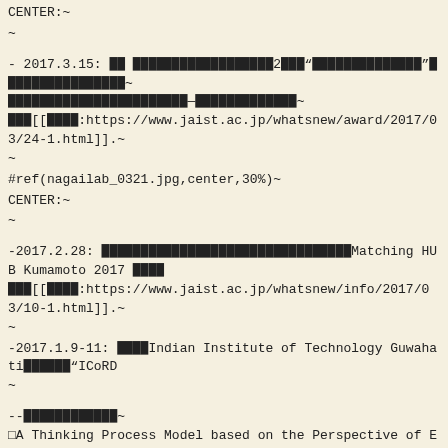CENTER:~
~
- 2017.3.15: ██ ██████████████████2███"██████████████"████████████████~ ██████████████████████████—███████████████~ ███[[████:https://www.jaist.ac.jp/whatsnew/award/2017/03/24-1.html]].~ ~
#ref(nagailab_0321.jpg,center,30%)~
CENTER:~
~
-2017.2.28: ████████████████████████████████Matching HUB Kumamoto 2017 ████ ███[[████:https://www.jaist.ac.jp/whatsnew/info/2017/03/10-1.html]].~ ~
-2017.1.9-11: ████Indian Institute of Technology Guwahati██████"ICoRD~ ~
--██████████████~ □A Thinking Process Model based on the Perspective of Editing  Con~ ~
████████████